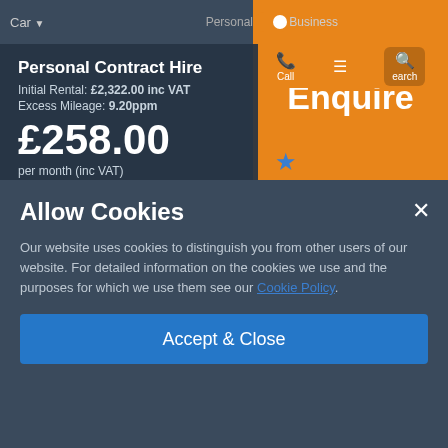Car | Personal | Business
Personal Contract Hire
Initial Rental: £2,322.00 inc VAT
Excess Mileage: 9.20ppm
£258.00 per month (inc VAT)
Enquire
48 Month Term
8,000 Annual Miles
Allow Cookies
Our website uses cookies to distinguish you from other users of our website. For detailed information on the cookies we use and the purposes for which we use them see our Cookie Policy.
Accept & Close